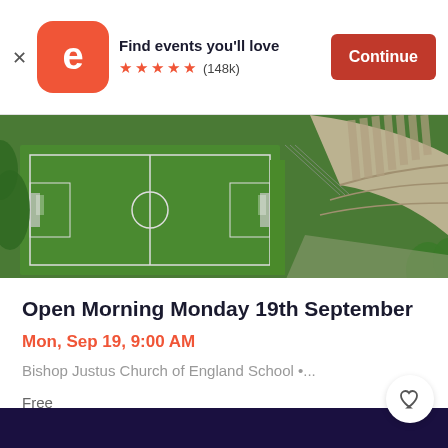[Figure (screenshot): Eventbrite app banner showing logo, 'Find events you'll love', 5 stars, (148k) reviews, and a Continue button]
[Figure (photo): Aerial photograph of sports fields and a curved building (Bishop Justus Church of England School)]
Open Morning Monday 19th September
Mon, Sep 19, 9:00 AM
Bishop Justus Church of England School •...
Free